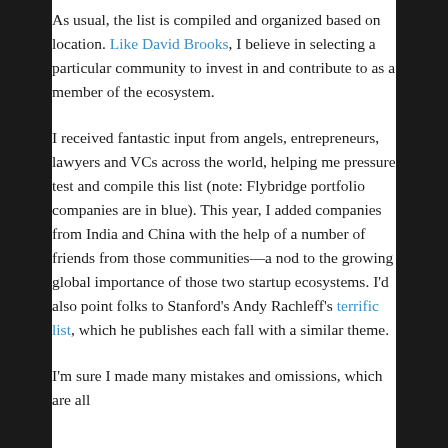As usual, the list is compiled and organized based on location. Like David Brooks, I believe in selecting a particular community to invest in and contribute to as a member of the ecosystem.
I received fantastic input from angels, entrepreneurs, lawyers and VCs across the world, helping me pressure test and compile this list (note: Flybridge portfolio companies are in blue). This year, I added companies from India and China with the help of a number of friends from those communities—a nod to the growing global importance of those two startup ecosystems. I'd also point folks to Stanford's Andy Rachleff's terrific list, which he publishes each fall with a similar theme.
I'm sure I made many mistakes and omissions, which are all